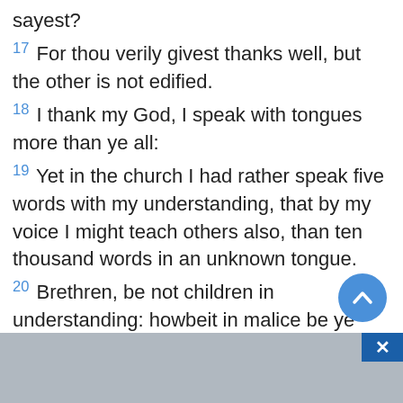sayest?
17 For thou verily givest thanks well, but the other is not edified.
18 I thank my God, I speak with tongues more than ye all:
19 Yet in the church I had rather speak five words with my understanding, that by my voice I might teach others also, than ten thousand words in an unknown tongue.
20 Brethren, be not children in understanding: howbeit in malice be ye children, but in understanding be men.
21 In the law it is written, With men of other tongues and other lips will I speak unto this people; and yet for all that will they not hear me, saith the Lord.
22 Wherefore tongues are for a sign, not to them that believe, but to them that believe not: but prophesying serveth not for